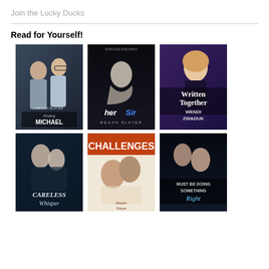Join the Lucky Ducks
Read for Yourself!
[Figure (illustration): Book cover: Finding Michael by Megan Slayer — two men, dark moody tones]
[Figure (illustration): Book cover: her Sir by Megan Slayer — dark silhouette figure, Interlude Publishing]
[Figure (illustration): Book cover: Written Together by Wendi Zwaduk — blonde woman, purple tones]
[Figure (illustration): Book cover: Careless Whisper — couple embracing, dark blue tones]
[Figure (illustration): Book cover: Challenges by Megan Slayer — couple, colorful]
[Figure (illustration): Book cover: Must Be Doing Something Right — couple in dark romantic scene]